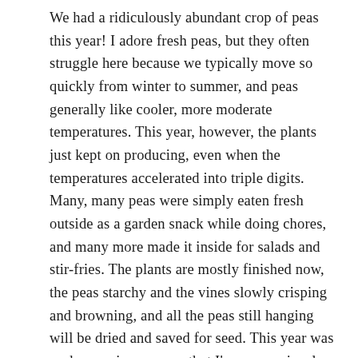We had a ridiculously abundant crop of peas this year! I adore fresh peas, but they often struggle here because we typically move so quickly from winter to summer, and peas generally like cooler, more moderate temperatures. This year, however, the plants just kept on producing, even when the temperatures accelerated into triple digits. Many, many peas were simply eaten fresh outside as a garden snack while doing chores, and many more made it inside for salads and stir-fries. The plants are mostly finished now, the peas starchy and the vines slowly crisping and browning, and all the peas still hanging will be dried and saved for seed. This year was such a roaring success that I'm very seriously considering giving the peas their own special home next to the raspberry beds, and saving the space in the raised beds for other spring crops like carrots and onions.